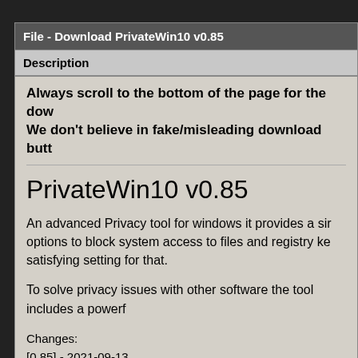File - Download PrivateWin10 v0.85
Description
Always scroll to the bottom of the page for the download link. We don't believe in fake/misleading download buttons.
PrivateWin10 v0.85
An advanced Privacy tool for windows it provides a simple options to block system access to files and registry keys, satisfying setting for that.
To solve privacy issues with other software the tool includes a powerful
Changes:
[0.85] - 2021-09-13
Changed
presets now always clean up firewall rules
fixed when in rule restoration mode new unsolicited rules are deleted
-- no notification is shown as no user action is to be taken